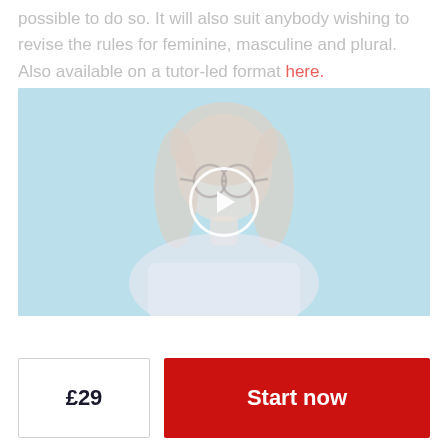possible to do so. It will also suit anybody wishing to revise the rules for feminine, masculine and plural. Also available on a tutor-led format here.
[Figure (photo): Video thumbnail showing a young woman with glasses and blonde hair against a light blue background, with a circular play button overlay in the center.]
£29
Start now